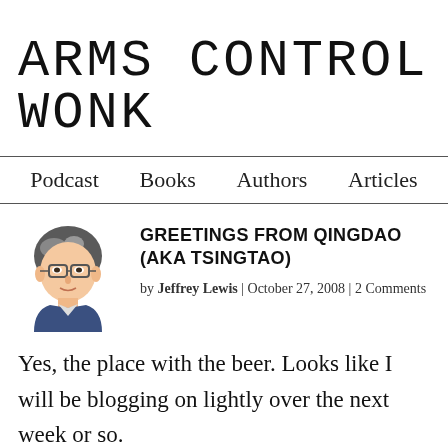ARMS CONTROL WONK
Podcast  Books  Authors  Articles
[Figure (illustration): Cartoon avatar of Jeffrey Lewis, a man with glasses and gray hair wearing a blue jacket]
GREETINGS FROM QINGDAO (AKA TSINGTAO)
by Jeffrey Lewis | October 27, 2008 | 2 Comments
Yes, the place with the beer. Looks like I will be blogging on lightly over the next week or so.